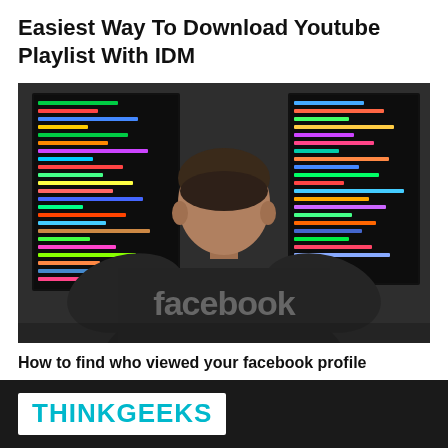Easiest Way To Download Youtube Playlist With IDM
[Figure (photo): Back view of a person wearing a dark Facebook-branded t-shirt, sitting in front of two computer monitors displaying colorful code]
How to find who viewed your facebook profile
THINKGEEKS